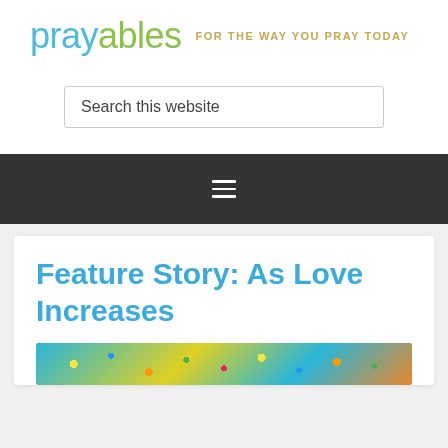prayables FOR THE WAY YOU PRAY TODAY
Search this website
[Figure (other): Hamburger menu icon (three horizontal lines) on dark background navigation bar]
Feature Story: As Love Increases
[Figure (photo): Colorful image strip at the bottom of the card, with blues, yellows, and oranges suggesting a mosaic or crowd scene]